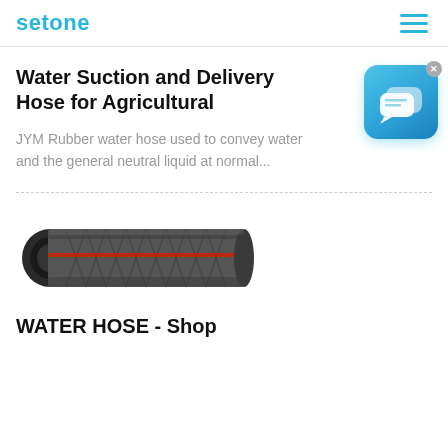setone
Water Suction and Delivery Hose for Agricultural
JYM Rubber water hose used to convey water and the general neutral liquid at normal...
[Figure (illustration): Chat/messaging widget icon — two overlapping speech bubbles in white on a sky-blue rounded-square background, with a small X close button in top-right corner]
[Figure (photo): A black and gray braided rubber water hose with a red stripe, shown in cylindrical perspective against a white background]
WATER HOSE - Shop